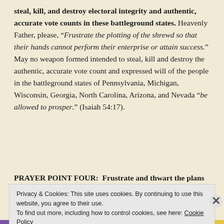steal, kill, and destroy electoral integrity and authentic, accurate vote counts in these battleground states. Heavenly Father, please, "Frustrate the plotting of the shrewd so that their hands cannot perform their enterprise or attain success." May no weapon formed intended to steal, kill and destroy the authentic, accurate vote count and expressed will of the people in the battleground states of Pennsylvania, Michigan, Wisconsin, Georgia, North Carolina, Arizona, and Nevada "be allowed to prosper." (Isaiah 54:17).
PRAYER POINT FOUR:  Frustrate and thwart the plans of
Privacy & Cookies: This site uses cookies. By continuing to use this website, you agree to their use. To find out more, including how to control cookies, see here: Cookie Policy
Close and accept